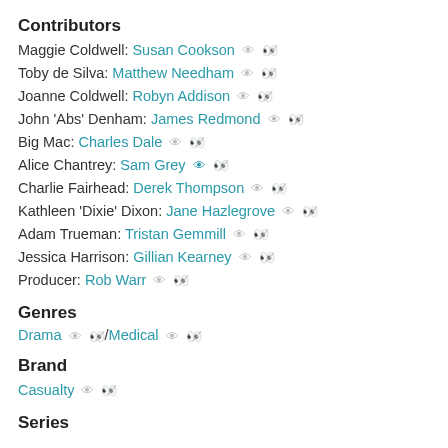Contributors
Maggie Coldwell: Susan Cookson
Toby de Silva: Matthew Needham
Joanne Coldwell: Robyn Addison
John 'Abs' Denham: James Redmond
Big Mac: Charles Dale
Alice Chantrey: Sam Grey
Charlie Fairhead: Derek Thompson
Kathleen 'Dixie' Dixon: Jane Hazlegrove
Adam Trueman: Tristan Gemmill
Jessica Harrison: Gillian Kearney
Producer: Rob Warr
Genres
Drama / Medical
Brand
Casualty
Series